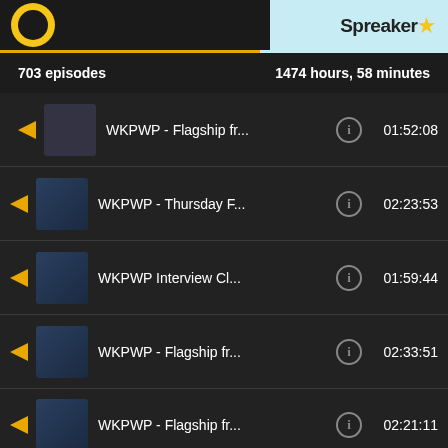[Figure (screenshot): Top banner with dark left section showing yellow circle logo element and Spreaker logo on light blue right section]
703 episodes    1474 hours, 58 minutes
WKPWP - Flagship fr...  01:52:08
WKPWP - Thursday F...  02:23:53
WKPWP Interview Cl...  01:59:44
WKPWP - Flagship fr...  02:33:51
WKPWP - Flagship fr...  02:21:11
TAKE YOUR FANDOM TO THE NEXT LEVEL
[Figure (screenshot): Disney Bundle advertisement: hulu, Disney+, ESPN+ logos with 'GET THE DISNEY BUNDLE' button. Text: Incl. Hulu (ad-supported) or Hulu (No Ads). Access content from each service separately. ©2021 Disney and its related entities]